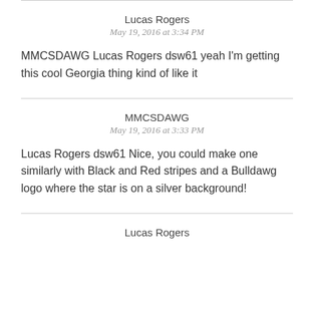Lucas Rogers
May 19, 2016 at 3:34 PM
MMCSDAWG Lucas Rogers dsw61 yeah I'm getting this cool Georgia thing kind of like it
MMCSDAWG
May 19, 2016 at 3:33 PM
Lucas Rogers dsw61 Nice, you could make one similarly with Black and Red stripes and a Bulldawg logo where the star is on a silver background!
Lucas Rogers